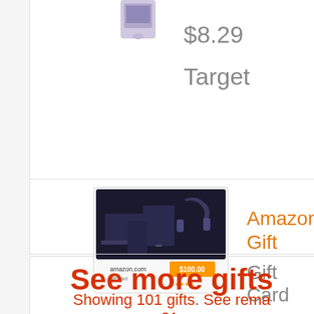$8.29
Target
[Figure (photo): Amazon Gift Card product image showing electronic devices on black background with $100.00 price label]
Amazon Gift
Gift Card
See more gifts
Showing 101 gifts. See rema 31.